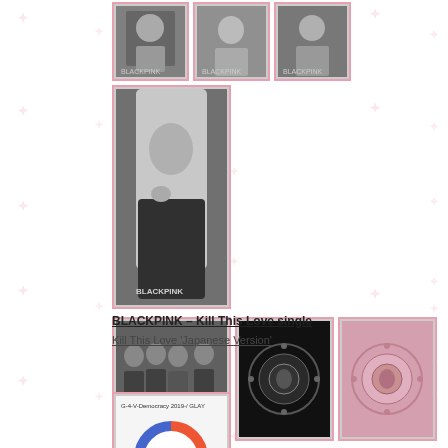[Figure (photo): Three black and white portrait photos of BLACKPINK members at top]
[Figure (photo): Single black and white portrait photo of a BLACKPINK member (Rosé) with long blonde hair, BLACKPINK text visible]
[Figure (photo): Three album/promotional images: BLACKPINK group photo in black outfits, Kill This Love dark ornate emblem on black, Kill This Love pink emblem]
BLACKPINK – Kill This Love single
Kill This Love 'Japanese Version'
[Figure (photo): Album cover: G-4-V-Democracy 2019-/ GLAY with colorful circular G logo]